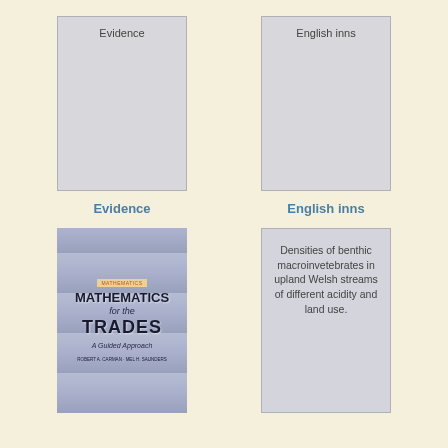[Figure (illustration): Book cover placeholder for 'Evidence' with gray background and title text at top]
[Figure (illustration): Book cover placeholder for 'English inns' with gray background and title text at top]
Evidence
English inns
[Figure (photo): Book cover of 'Mathematics for the Trades: A Guided Approach' with decorative blue/purple tile pattern background]
[Figure (illustration): Book cover placeholder for 'Densities of benthic macroinvetebrates in upland Welsh streams of different acidity and land use.' with gray background and title text]